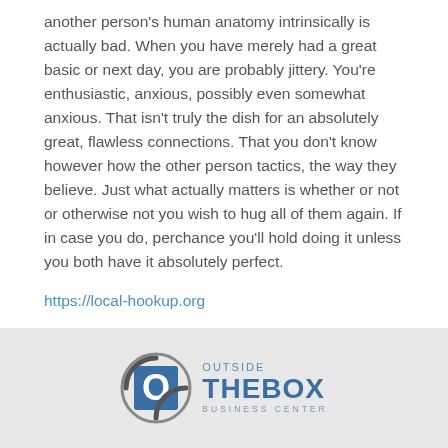another person's human anatomy intrinsically is actually bad. When you have merely had a great basic or next day, you are probably jittery. You're enthusiastic, anxious, possibly even somewhat anxious. That isn't truly the dish for an absolutely great, flawless connections. That you don't know however how the other person tactics, the way they believe. Just what actually matters is whether or not or otherwise not you wish to hug all of them again. If in case you do, perchance you'll hold doing it unless you both have it absolutely perfect.
https://local-hookup.org
[Figure (logo): Outside The Box Business Center logo with circular O icon]